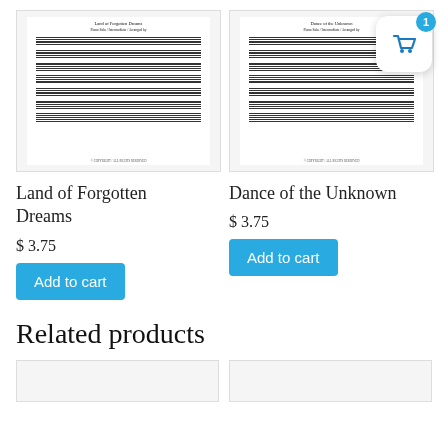[Figure (illustration): Sheet music preview thumbnail for 'Land of Forgotten Dreams' — multiple staffs of piano notation]
[Figure (illustration): Sheet music preview thumbnail for 'Dance of the Unknown' — multiple staffs of piano notation]
[Figure (other): Shopping cart icon with badge showing 1 item]
Land of Forgotten Dreams
$ 3.75
Add to cart
Dance of the Unknown
$ 3.75
Add to cart
Related products